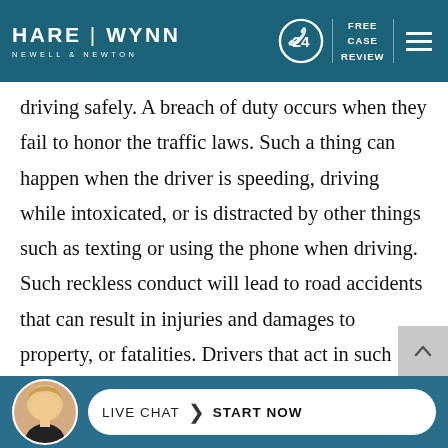HARE | WYNN NEWELL & NEWTON — Free Case Review
driving safely. A breach of duty occurs when they fail to honor the traffic laws. Such a thing can happen when the driver is speeding, driving while intoxicated, or is distracted by other things such as texting or using the phone when driving. Such reckless conduct will lead to road accidents that can result in injuries and damages to property, or fatalities. Drivers that act in such reckless ways are at fault for the accident and thus liable to cover
[Figure (screenshot): Live Chat — Start Now button bar with female agent avatar at bottom of page]